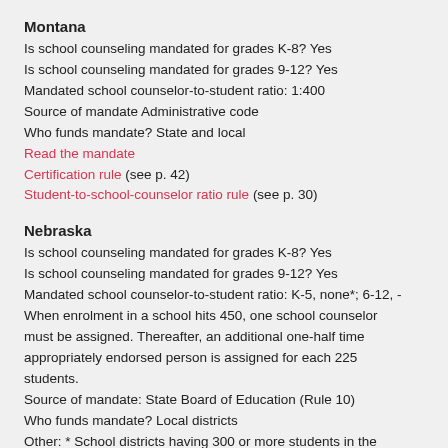Montana
Is school counseling mandated for grades K-8? Yes
Is school counseling mandated for grades 9-12? Yes
Mandated school counselor-to-student ratio: 1:400
Source of mandate Administrative code
Who funds mandate? State and local
Read the mandate
Certification rule (see p. 42)
Student-to-school-counselor ratio rule (see p. 30)
Nebraska
Is school counseling mandated for grades K-8? Yes
Is school counseling mandated for grades 9-12? Yes
Mandated school counselor-to-student ratio: K-5, none*; 6-12, - When enrolment in a school hits 450, one school counselor must be assigned. Thereafter, an additional one-half time appropriately endorsed person is assigned for each 225 students.
Source of mandate: State Board of Education (Rule 10)
Who funds mandate? Local districts
Other: * School districts having 300 or more students in the elementary grades have guidance programs or services